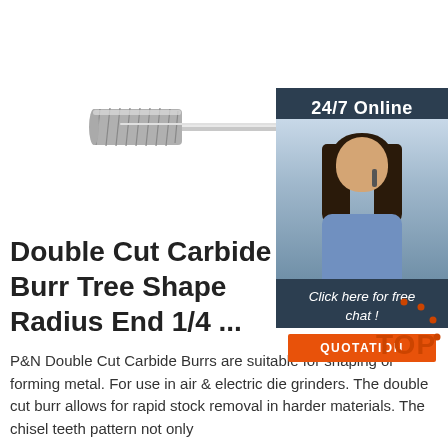[Figure (photo): Carbide burr tool - cylinder shape with long shank, shown horizontally]
[Figure (photo): 24/7 Online customer service sidebar with woman wearing headset, 'Click here for free chat!' text, and orange QUOTATION button]
Double Cut Carbide Burr Tree Shape Radius End 1/4 ...
P&N Double Cut Carbide Burrs are suitable for shaping or forming metal. For use in air & electric die grinders. The double cut burr allows for rapid stock removal in harder materials. The chisel teeth pattern not only